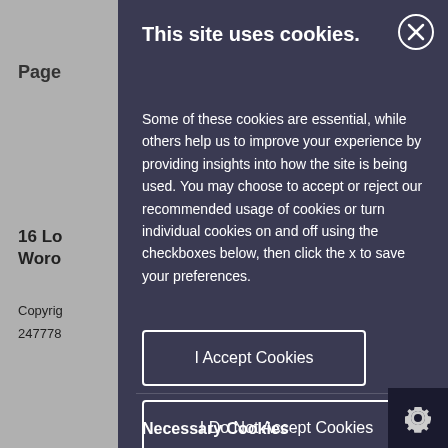Page
16 Lo
Woro
Copyrig
247778
This site uses cookies.
Some of these cookies are essential, while others help us to improve your experience by providing insights into how the site is being used. You may choose to accept or reject our recommended usage of cookies or turn individual cookies on and off using the checkboxes below, then click the x to save your preferences.
I Accept Cookies
I Do Not Accept Cookies
Necessary Cookies